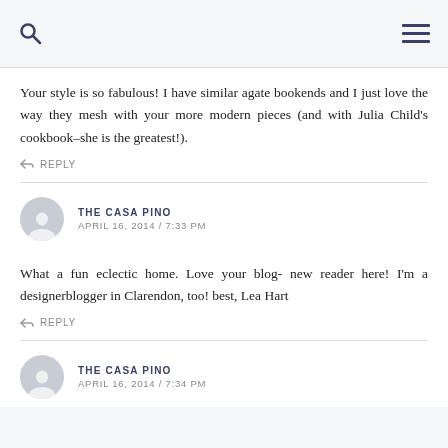Your style is so fabulous! I have similar agate bookends and I just love the way they mesh with your more modern pieces (and with Julia Child's cookbook–she is the greatest!).
REPLY
THE CASA PINO
APRIL 16, 2014 / 7:33 PM
What a fun eclectic home. Love your blog- new reader here! I'm a designerblogger in Clarendon, too! best, Lea Hart
REPLY
THE CASA PINO
APRIL 16, 2014 / 7:34 PM